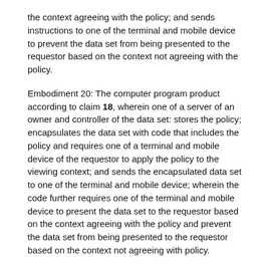the context agreeing with the policy; and sends instructions to one of the terminal and mobile device to prevent the data set from being presented to the requestor based on the context not agreeing with the policy.
Embodiment 20: The computer program product according to claim 18, wherein one of a server of an owner and controller of the data set: stores the policy; encapsulates the data set with code that includes the policy and requires one of a terminal and mobile device of the requestor to apply the policy to the viewing context; and sends the encapsulated data set to one of the terminal and mobile device; wherein the code further requires one of the terminal and mobile device to present the data set to the requestor based on the context agreeing with the policy and prevent the data set from being presented to the requestor based on the context not agreeing with policy.
It can be appreciated that the method 100 or similar method for a software vendor proactively identifying problems a customer may have with software procured from the software vendor (or system for implementing the method 100 or similar method) may be implemented as a